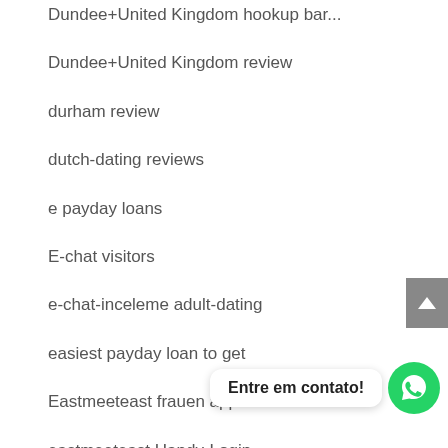Dundee+United Kingdom hookup bar (clipped top)
Dundee+United Kingdom review
durham review
dutch-dating reviews
e payday loans
E-chat visitors
e-chat-inceleme adult-dating
easiest payday loan to get
Eastmeeteast frauen app
eastmeeteast Handy-Login
eastmeeteast indir
EastMeetEast...
eastmeeteast sign in
[Figure (other): WhatsApp contact button with 'Entre em contato!' speech bubble and green WhatsApp icon]
[Figure (other): Gray scroll-to-top button with upward arrow on right side]